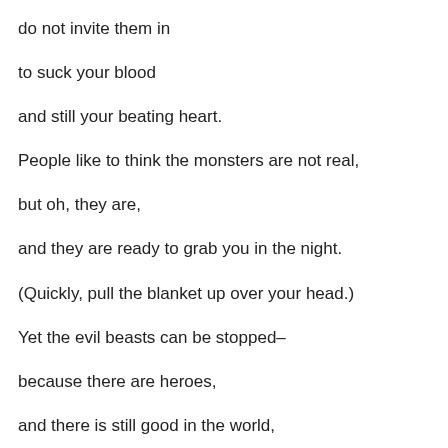do not invite them in
to suck your blood
and still your beating heart.
People like to think the monsters are not real,
but oh, they are,
and they are ready to grab you in the night.
(Quickly, pull the blanket up over your head.)
Yet the evil beasts can be stopped–
because there are heroes,
and there is still good in the world,